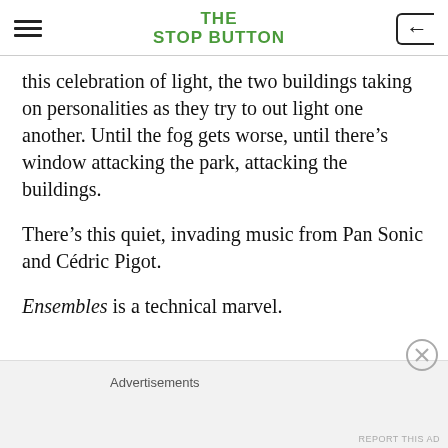THE STOP BUTTON
this celebration of light, the two buildings taking on personalities as they try to out light one another. Until the fog gets worse, until there’s window attacking the park, attacking the buildings.
There’s this quiet, invading music from Pan Sonic and Cédric Pigot.
Ensembles is a technical marvel.
Advertisements